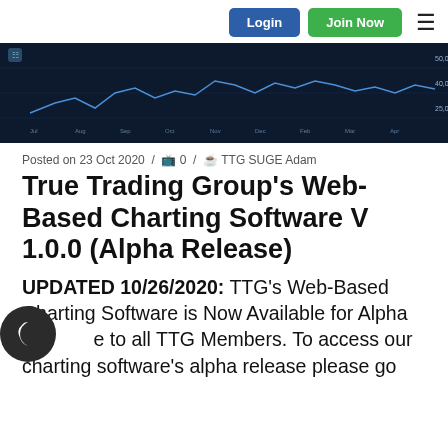Login | Join Now
[Figure (screenshot): Dark-themed web-based charting software screenshot showing a financial price chart with candlestick/line data on a dark navy background, with axis labels and price levels visible on the right side.]
Posted on 23 Oct 2020 / 0 / TTG SUGE Adam
True Trading Group's Web-Based Charting Software V 1.0.0 (Alpha Release)
UPDATED 10/26/2020: TTG's Web-Based Charting Software is Now Available for Alpha Release to all TTG Members. To access our charting software's alpha release please go